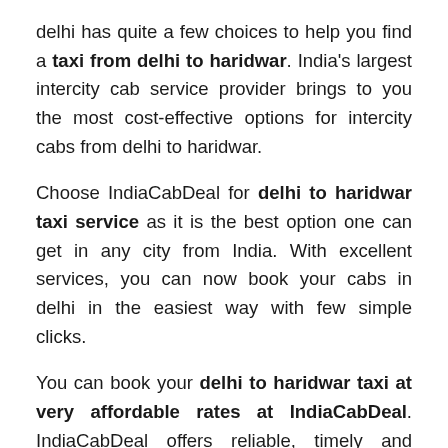delhi has quite a few choices to help you find a taxi from delhi to haridwar. India's largest intercity cab service provider brings to you the most cost-effective options for intercity cabs from delhi to haridwar.
Choose IndiaCabDeal for delhi to haridwar taxi service as it is the best option one can get in any city from India. With excellent services, you can now book your cabs in delhi in the easiest way with few simple clicks.
You can book your delhi to haridwar taxi at very affordable rates at IndiaCabDeal. IndiaCabDeal offers reliable, timely and quality cab service in delhi for customers. Book delhi to haridwar cabs at IndiaCabDeal at the most competitive price for all